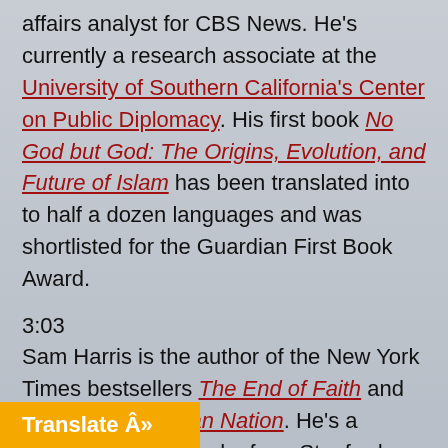affairs analyst for CBS News. He's currently a research associate at the University of Southern California's Center on Public Diplomacy. His first book No God but God: The Origins, Evolution, and Future of Islam has been translated into to half a dozen languages and was shortlisted for the Guardian First Book Award.
3:03
Sam Harris is the author of the New York Times bestsellers The End of Faith and Letter to a Christian Nation. He's a graduate in philosophy from Stanford University and has studied both Eastern and Western religious traditions along with a variety of contemplative disciplines for 20 years. He's now completing a doctorate in neuroscience. His book The End of Faith won the [PEN Award] for First Nonfiction and several [others] are in press.